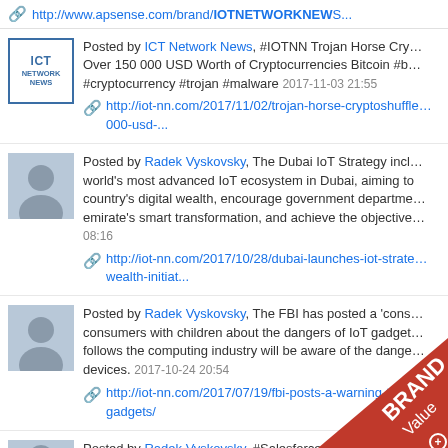http://www.apsense.com/brand/IOTNETWORKNEWS...
Posted by ICT Network News, #IOTNN Trojan Horse Cry... Over 150 000 USD Worth of Cryptocurrencies Bitcoin #b... #cryptocurrency #trojan #malware 2017-11-03 21:55
http://iot-nn.com/2017/11/02/trojan-horse-cryptoshuffle... 000-usd-...
Posted by Radek Vyskovsky, The Dubai IoT Strategy incl... world's most advanced IoT ecosystem in Dubai, aiming to country's digital wealth, encourage government departme... emirate's smart transformation, and achieve the objective... 08:16
http://iot-nn.com/2017/10/28/dubai-launches-iot-strate... wealth-initiat...
Posted by Radek Vyskovsky, The FBI has posted a 'cons... consumers with children about the dangers of IoT gadget... follows the computing industry will be aware of the dange... devices. 2017-10-24 20:54
http://iot-nn.com/2017/07/19/fbi-posts-a-warning-to... gadgets/
Posted by Radek Vyskovsky, #Salesforce ha... Editio... t f l bli t T bl t i